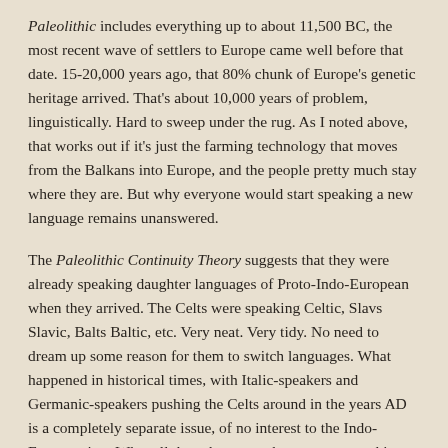Paleolithic includes everything up to about 11,500 BC, the most recent wave of settlers to Europe came well before that date. 15-20,000 years ago, that 80% chunk of Europe's genetic heritage arrived. That's about 10,000 years of problem, linguistically. Hard to sweep under the rug. As I noted above, that works out if it's just the farming technology that moves from the Balkans into Europe, and the people pretty much stay where they are. But why everyone would start speaking a new language remains unanswered.
The Paleolithic Continuity Theory suggests that they were already speaking daughter languages of Proto-Indo-European when they arrived. The Celts were speaking Celtic, Slavs Slavic, Balts Baltic, etc. Very neat. Very tidy. No need to dream up some reason for them to switch languages. What happened in historical times, with Italic-speakers and Germanic-speakers pushing the Celts around in the years AD is a completely separate issue, of no interest to the Indo-Europeanists. What all those hunter-gatherers were speaking before the farming came in is their concern.
That still leaves a fairly large problem however. How did